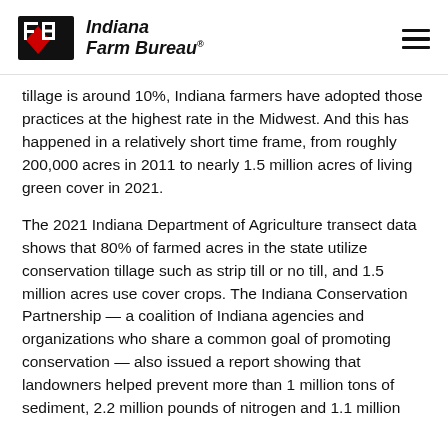Indiana Farm Bureau
tillage is around 10%, Indiana farmers have adopted those practices at the highest rate in the Midwest. And this has happened in a relatively short time frame, from roughly 200,000 acres in 2011 to nearly 1.5 million acres of living green cover in 2021.
The 2021 Indiana Department of Agriculture transect data shows that 80% of farmed acres in the state utilize conservation tillage such as strip till or no till, and 1.5 million acres use cover crops. The Indiana Conservation Partnership — a coalition of Indiana agencies and organizations who share a common goal of promoting conservation — also issued a report showing that landowners helped prevent more than 1 million tons of sediment, 2.2 million pounds of nitrogen and 1.1 million pounds of phosphorus from entering Indiana's waterways.